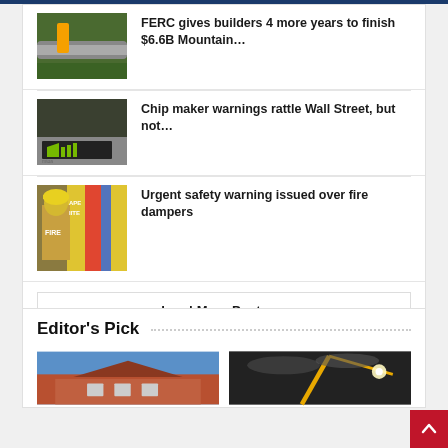FERC gives builders 4 more years to finish $6.6B Mountain…
Chip maker warnings rattle Wall Street, but not…
Urgent safety warning issued over fire dampers
Load More Posts ˅
Editor's Pick
[Figure (photo): Brick house with blue sky]
[Figure (photo): Crane with lights at night]